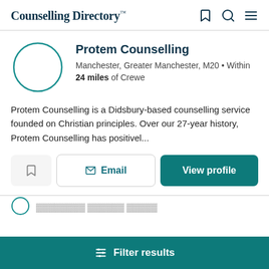Counselling Directory™
Protem Counselling
Manchester, Greater Manchester, M20 • Within 24 miles of Crewe
Protem Counselling is a Didsbury-based counselling service founded on Christian principles. Over our 27-year history, Protem Counselling has positivel...
Filter results